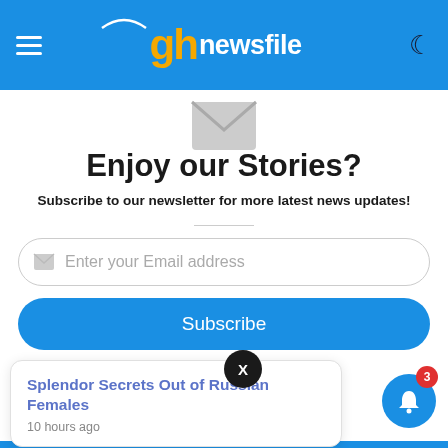[Figure (logo): GhNewsFile logo — blue header bar with hamburger menu on left, 'gh' in gold and 'newsfile' in white in center, crescent moon icon on right]
[Figure (illustration): Grey envelope icon centered below header]
Enjoy our Stories?
Subscribe to our newsletter for more latest news updates!
Enter your Email address
Subscribe
[Figure (screenshot): Notification popup card with title 'Splendor Secrets Out of Russian Females', timestamp '10 hours ago', close X button, and blue bell notification button with red badge showing 3]